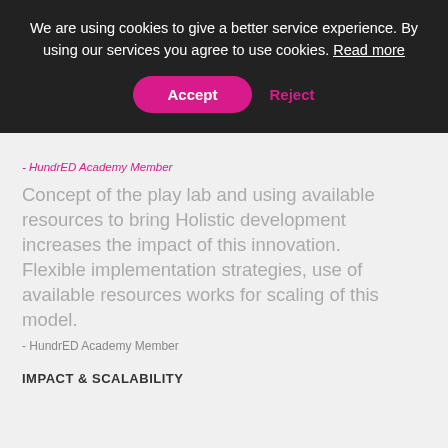We are using cookies to give a better service experience. By using our services you agree to use cookies. Read more
Accept  Reject
- HundrED Academy Member
Concept of the play lab and using available resources to bring Holistic development increases the impact of this innovation.
Flexible implementation strategies, use of available resources works for scaling of this model.
- HundrED Academy Member
IMPACT & SCALABILITY